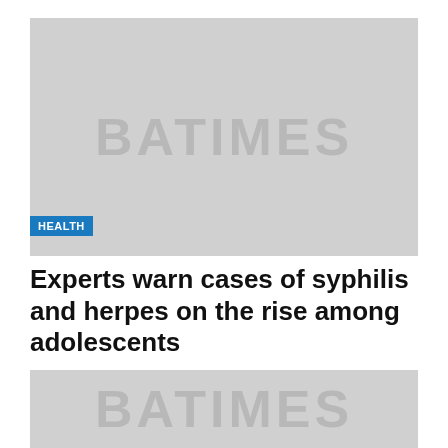[Figure (illustration): Gray placeholder image with 'BATIMES' watermark text in center]
HEALTH
Experts warn cases of syphilis and herpes on the rise among adolescents
[Figure (illustration): Gray placeholder image with 'BATIMES' watermark text partially visible]